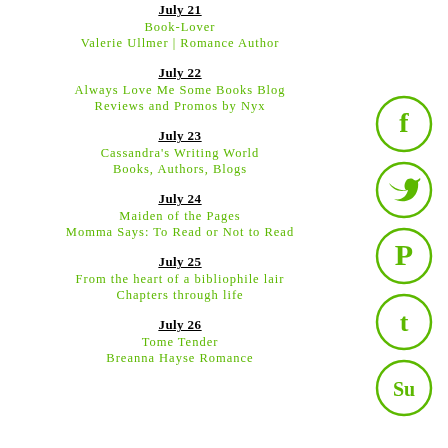July 21
Book-Lover
Valerie Ullmer | Romance Author
July 22
Always Love Me Some Books Blog
Reviews and Promos by Nyx
July 23
Cassandra's Writing World
Books, Authors, Blogs
July 24
Maiden of the Pages
Momma Says: To Read or Not to Read
July 25
From the heart of a bibliophile lair
Chapters through life
July 26
Tome Tender
Breanna Hayse Romance
[Figure (infographic): Social media icons in green circles: Facebook, Twitter, Pinterest, Tumblr, StumbleUpon]